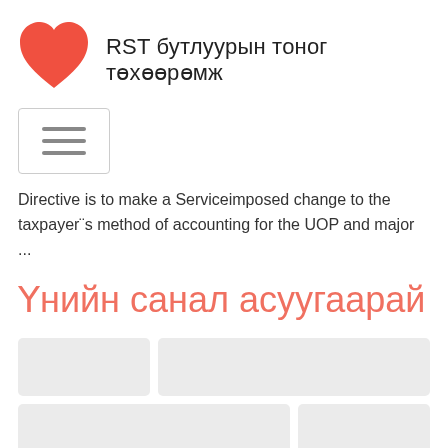RST бутлуурын тоног төхөөрөмж
[Figure (illustration): Red heart icon (logo)]
[Figure (screenshot): Hamburger menu button icon with three horizontal lines]
Directive is to make a Serviceimposed change to the taxpayer¨s method of accounting for the UOP and major ...
Үнийн санал асуугаарай
[Figure (infographic): Placeholder card grid area with light gray blocks representing content cards]